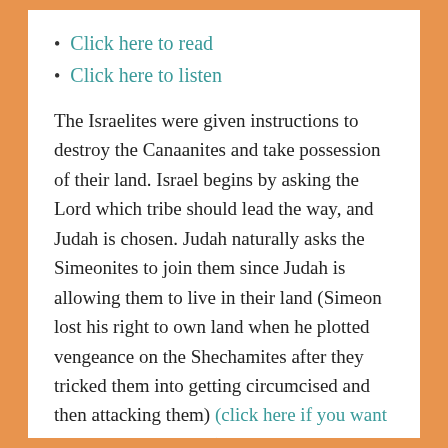Click here to read
Click here to listen
The Israelites were given instructions to destroy the Canaanites and take possession of their land. Israel begins by asking the Lord which tribe should lead the way, and Judah is chosen. Judah naturally asks the Simeonites to join them since Judah is allowing them to live in their land (Simeon lost his right to own land when he plotted vengeance on the Shechamites after they tricked them into getting circumcised and then attacking them) (click here if you want to re-read Genesis 34)
“Adoni-bezek” meaning “lord of Bezek” was the